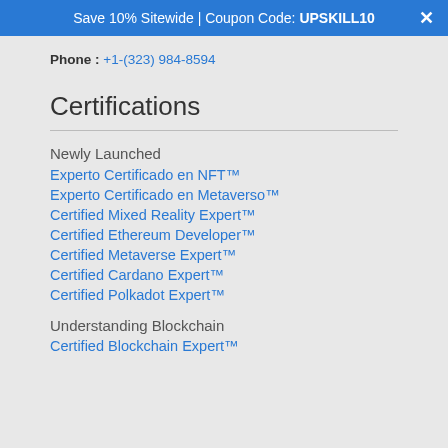Save 10% Sitewide | Coupon Code: UPSKILL10
Phone : +1-(323) 984-8594
Certifications
Newly Launched
Experto Certificado en NFT™
Experto Certificado en Metaverso™
Certified Mixed Reality Expert™
Certified Ethereum Developer™
Certified Metaverse Expert™
Certified Cardano Expert™
Certified Polkadot Expert™
Understanding Blockchain
Certified Blockchain Expert™